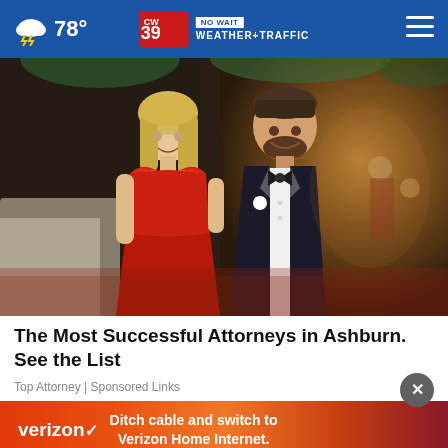78° | CW39 NO WAIT WEATHER+TRAFFIC
[Figure (photo): A couple dressed formally at an event: a woman in a red strapless gown and a man in a dark tuxedo with bow tie and white boutonniere, smiling at the camera in a ballroom setting]
The Most Successful Attorneys in Ashburn. See the List
Top Attorney | Sponsored Links
[Figure (photo): Verizon advertisement banner: 'Ditch cable and switch to Verizon Home Internet.' on a red/orange gradient background]